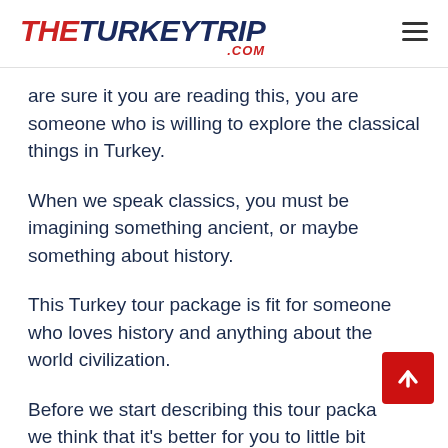THETURKEYTRIP.COM
are sure it you are reading this, you are someone who is willing to explore the classical things in Turkey.
When we speak classics, you must be imagining something ancient, or maybe something about history.
This Turkey tour package is fit for someone who loves history and anything about the world civilization.
Before we start describing this tour packa we think that it's better for you to little bit